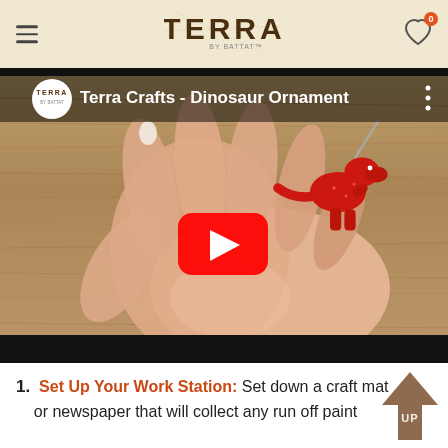TERRA by BATTAT
[Figure (screenshot): YouTube video thumbnail showing a hand holding a red glittery dinosaur ornament with needle/hook. Video title: Terra Crafts - Dinosaur Ornament. Red YouTube play button in center.]
Set Up Your Work Station: Set down a craft mat or newspaper that will collect any run off paint